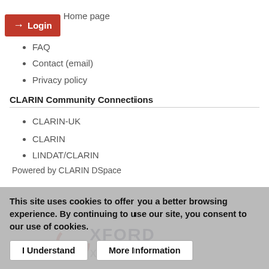Home page
ut OTA
FAQ
Contact (email)
Privacy policy
CLARIN Community Connections
CLARIN-UK
CLARIN
LINDAT/CLARIN
Powered by CLARIN DSpace
[Figure (logo): Oxford Text Archive logo — OXFORD TEXT ARCHIVE text in large letters]
This site uses cookies to offer you a better browsing experience. By continuing to use our site, you consent to our use of cookies.